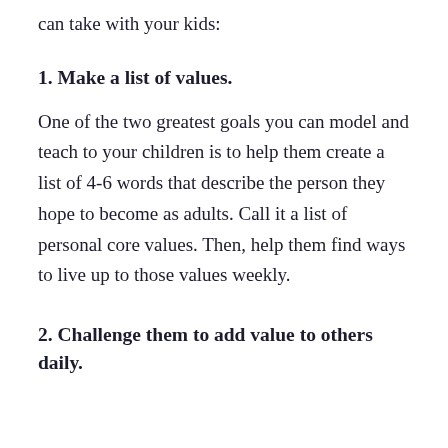can take with your kids:
1. Make a list of values.
One of the two greatest goals you can model and teach to your children is to help them create a list of 4-6 words that describe the person they hope to become as adults. Call it a list of personal core values. Then, help them find ways to live up to those values weekly.
2. Challenge them to add value to others daily.